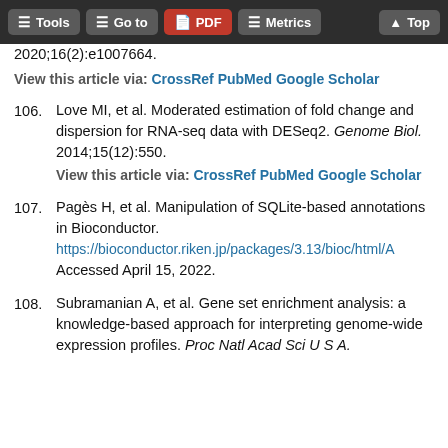Tools | Go to | PDF | Metrics | Top
2020;16(2):e1007664. View this article via: CrossRef PubMed Google Scholar
106. Love MI, et al. Moderated estimation of fold change and dispersion for RNA-seq data with DESeq2. Genome Biol. 2014;15(12):550. View this article via: CrossRef PubMed Google Scholar
107. Pagès H, et al. Manipulation of SQLite-based annotations in Bioconductor. https://bioconductor.riken.jp/packages/3.13/bioc/html/A Accessed April 15, 2022.
108. Subramanian A, et al. Gene set enrichment analysis: a knowledge-based approach for interpreting genome-wide expression profiles. Proc Natl Acad Sci U S A.